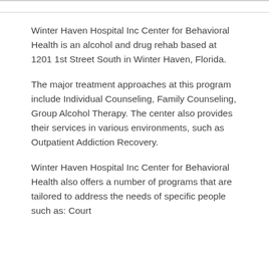Winter Haven Hospital Inc Center for Behavioral Health is an alcohol and drug rehab based at 1201 1st Street South in Winter Haven, Florida.
The major treatment approaches at this program include Individual Counseling, Family Counseling, Group Alcohol Therapy. The center also provides their services in various environments, such as Outpatient Addiction Recovery.
Winter Haven Hospital Inc Center for Behavioral Health also offers a number of programs that are tailored to address the needs of specific people such as: Court